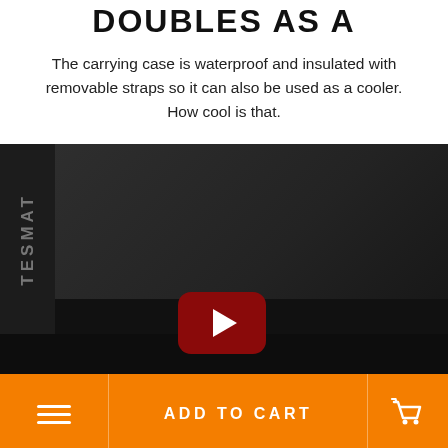DOUBLES AS A COOLER
The carrying case is waterproof and insulated with removable straps so it can also be used as a cooler. How cool is that.
[Figure (screenshot): Dark background video thumbnail with TESMAT vertical text label on left side and a YouTube play button (dark red rounded rectangle with white triangle) in the center-bottom area.]
[Figure (infographic): Orange bottom navigation bar with hamburger menu icon on the left, ADD TO CART text in the center, and shopping cart icon on the right.]